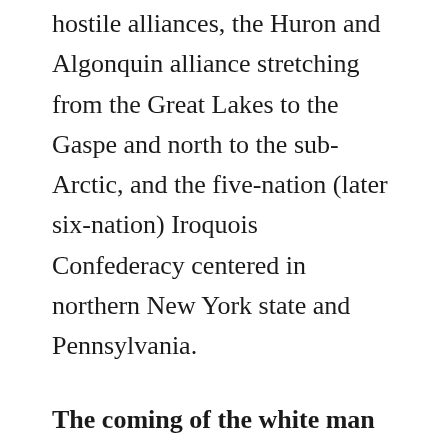hostile alliances, the Huron and Algonquin alliance stretching from the Great Lakes to the Gaspe and north to the sub-Arctic, and the five-nation (later six-nation) Iroquois Confederacy centered in northern New York state and Pennsylvania.
The coming of the white man
News of the Europeans arrival at the mouth of the St. Lawrence River in the early 1500's would have spread